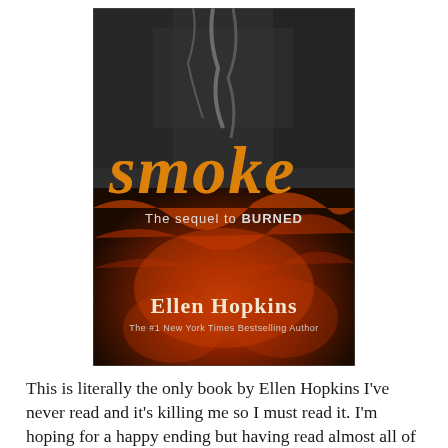[Figure (illustration): Book cover of 'Smoke' by Ellen Hopkins — the sequel to BURNED. Dark textured background with fire and rock imagery. Title 'smoke' in large fiery stylized letters, subtitle 'The sequel to BURNED' below, author name 'Ellen Hopkins' and 'The #1 New York Times Bestselling Author' at bottom.]
This is literally the only book by Ellen Hopkins I've never read and it's killing me so I must read it. I'm hoping for a happy ending but having read almost all of Hopkins novels I know not to get my hopes up.